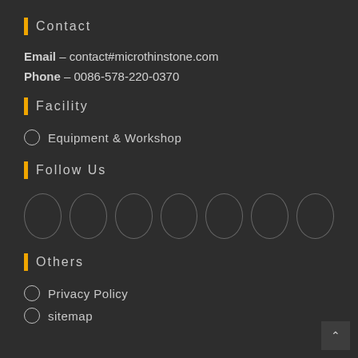Contact
Email – contact#microthinstone.com
Phone – 0086-578-220-0370
Facility
Equipment & Workshop
Follow Us
[Figure (other): Seven social media icon circles in a row]
Others
Privacy Policy
sitemap